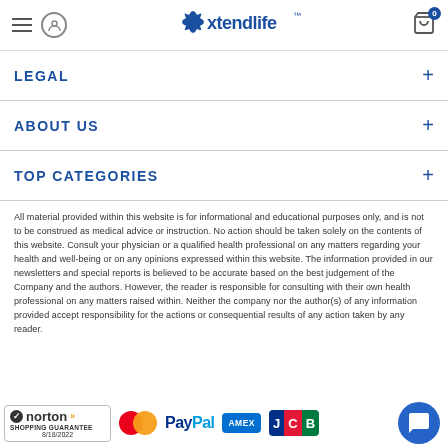Xtendlife — navigation header with hamburger, user icon, logo, cart
LEGAL
ABOUT US
TOP CATEGORIES
All material provided within this website is for informational and educational purposes only, and is not to be construed as medical advice or instruction. No action should be taken solely on the contents of this website. Consult your physician or a qualified health professional on any matters regarding your health and well-being or on any opinions expressed within this website. The information provided in our newsletters and special reports is believed to be accurate based on the best judgement of the Company and the authors. However, the reader is responsible for consulting with their own health professional on any matters raised within. Neither the company nor the author(s) of any information provided accept responsibility for the actions or consequential results of any action taken by any reader.
[Figure (logo): Norton Shopping Guarantee badge dated 8/18/2022]
[Figure (logo): Mastercard payment logo]
[Figure (logo): PayPal payment logo]
[Figure (logo): American Express (AMEX) payment logo]
[Figure (logo): JCB payment logo]